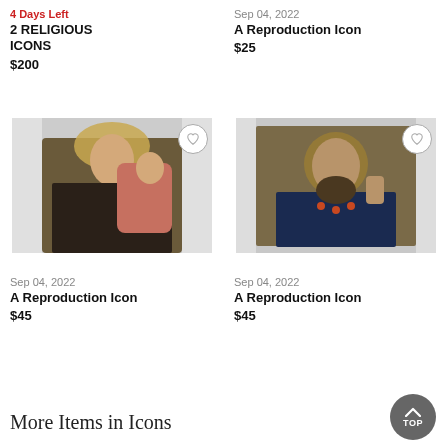4 Days Left
2 RELIGIOUS ICONS
$200
Sep 04, 2022
A Reproduction Icon
$25
[Figure (photo): Religious icon showing Madonna and Child (Virgin Mary holding baby Jesus), traditional Byzantine-style painting, dark robes]
[Figure (photo): Religious icon showing Jesus Christ, traditional Byzantine-style painting, dark robes, right hand raised in blessing]
Sep 04, 2022
A Reproduction Icon
$45
Sep 04, 2022
A Reproduction Icon
$45
More Items in Icons